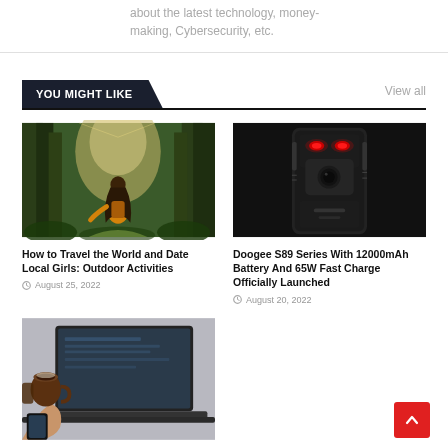about the latest technology, money-making, Cybersecurity, etc.
YOU MIGHT LIKE
View all
[Figure (photo): Woman with long hair wearing yellow jacket walking through a lush green forest, seen from behind]
How to Travel the World and Date Local Girls: Outdoor Activities
August 25, 2022
[Figure (photo): Doogee S89 rugged smartphone with red glowing accents on dark background, seen from the back]
Doogee S89 Series With 12000mAh Battery And 65W Fast Charge Officially Launched
August 20, 2022
[Figure (photo): Person holding a coffee cup and smartphone in front of a laptop computer]